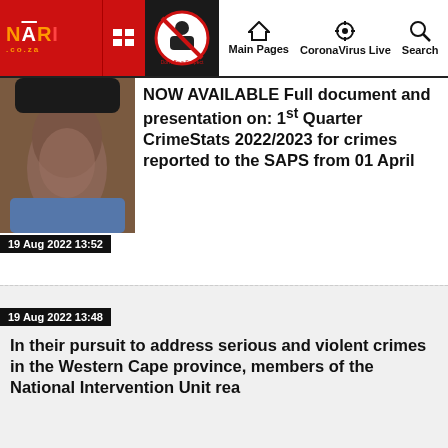NARI.co.za | Main Pages | CoronaVirus Live | Search
[Figure (photo): Close-up photo of a person's lower face/neck area, partially cropped]
19 Aug 2022 13:52
NOW AVAILABLE Full document and presentation on: 1st Quarter CrimeStats 2022/2023 for crimes reported to the SAPS from 01 April
19 Aug 2022 13:48
In their pursuit to address serious and violent crimes in the Western Cape province, members of the National Intervention Unit rea